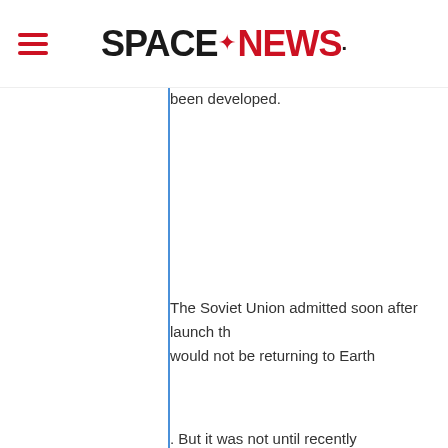SPACENEWS
been developed.
The Soviet Union admitted soon after launch that would not be returning to Earth
. But it was not until recently